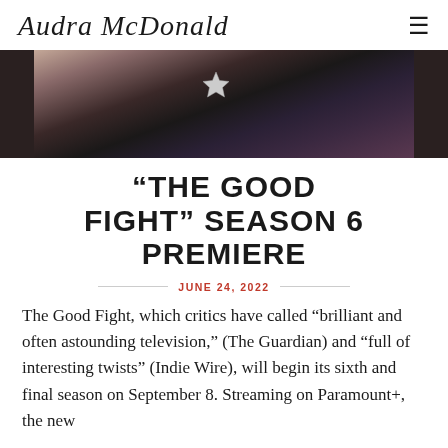Audra McDonald
[Figure (photo): A person wearing a tweed jacket with a star pin/badge, photographed from the torso up against a dark background.]
“The Good Fight” Season 6 Premiere
JUNE 24, 2022
The Good Fight, which critics have called “brilliant and often astounding television,” (The Guardian) and “full of interesting twists” (Indie Wire), will begin its sixth and final season on September 8. Streaming on Paramount+, the new